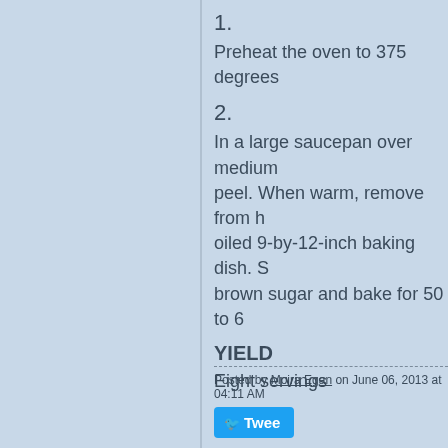1.
Preheat the oven to 375 degrees
2.
In a large saucepan over medium heat... peel. When warm, remove from heat... oiled 9-by-12-inch baking dish. S... brown sugar and bake for 50 to 6...
YIELD
Eight servings
Posted by Moira Egan on June 06, 2013 at 04:11 AM